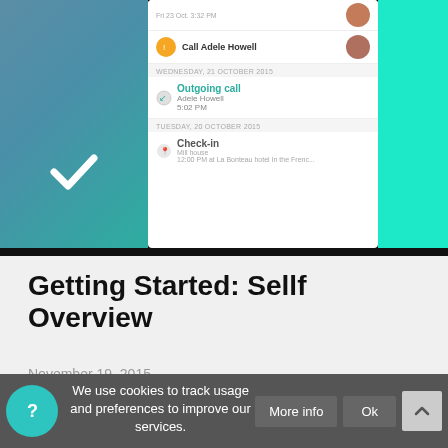[Figure (screenshot): Mobile app screenshot showing call log with outgoing call to Adele Howell and a Check-in entry, displayed with a teal/blue gradient sidebar and a bright teal right panel]
Getting Started: Sellf Overview
November 19, 2015
How many apps do you need to call you customers, take notes of the sales deals and plan your...
We use cookies to track usage and preferences to improve our services. More info Ok